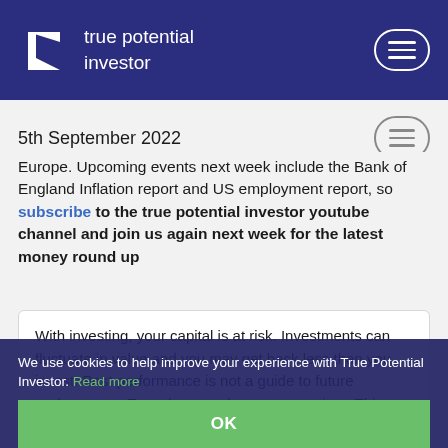true potential investor
5th September 2022
Europe. Upcoming events next week include the Bank of England Inflation report and US employment report, so subscribe to the true potential investor youtube channel and join us again next week for the latest money round up
With investing, your capital is at risk. Investments can fluctuate in value and you may get back less than you invest. Past performance is not a guide to future performance. Tax rules can change at any time. This blog is not personal financial advice.
We use cookies to help improve your experience with True Potential Investor. Read more